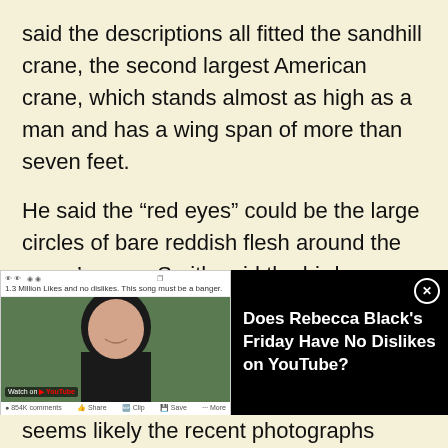said the descriptions all fitted the sandhill crane, the second largest American crane, which stands almost as high as a man and has a wing span of more than seven feet.
He said the “red eyes” could be the large circles of bare reddish flesh around the crane’s eyes. Smith said the bird apparently had wandered out of its normal migration route.
[Figure (screenshot): Embedded YouTube video thumbnail showing Rebecca Black - Friday with a play button overlay, alongside a black panel with text 'Does Rebecca Black's Friday Have No Dislikes on YouTube?' and a close button.]
seems likely the recent photographs were produced with the intention of stirring up the